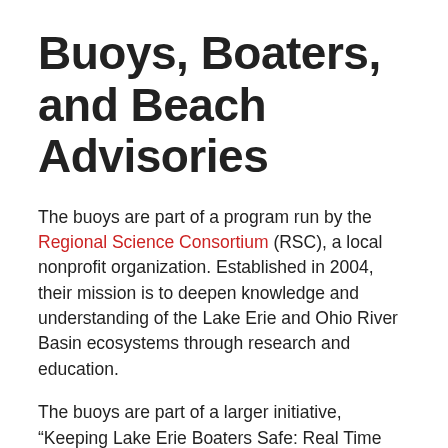Buoys, Boaters, and Beach Advisories
The buoys are part of a program run by the Regional Science Consortium (RSC), a local nonprofit organization. Established in 2004, their mission is to deepen knowledge and understanding of the Lake Erie and Ohio River Basin ecosystems through research and education.
The buoys are part of a larger initiative, “Keeping Lake Erie Boaters Safe: Real Time Buoy Program.”
The program includes two large-scale buoys that are deployed in the open waters of Lake Erie; two